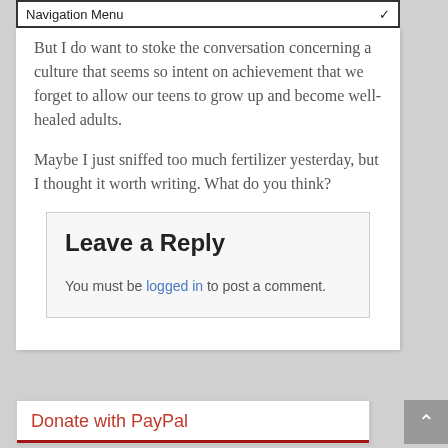Navigation Menu
But I do want to stoke the conversation concerning a culture that seems so intent on achievement that we forget to allow our teens to grow up and become well-healed adults.
Maybe I just sniffed too much fertilizer yesterday, but I thought it worth writing. What do you think?
Leave a Reply
You must be logged in to post a comment.
Donate with PayPal